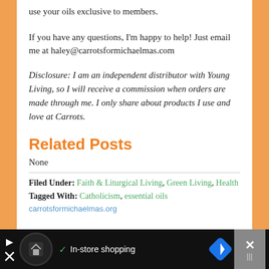use your oils exclusive to members.
If you have any questions, I'm happy to help! Just email me at haley@carrotsformichaelmas.com
Disclosure: I am an independent distributor with Young Living, so I will receive a commission when orders are made through me. I only share about products I use and love at Carrots.
Related Posts
None
Filed Under: Faith & Liturgical Living, Green Living, Health
Tagged With: Catholicism, essential oils
[Figure (screenshot): Advertisement bar at bottom with navigation app icons and In-store shopping text]